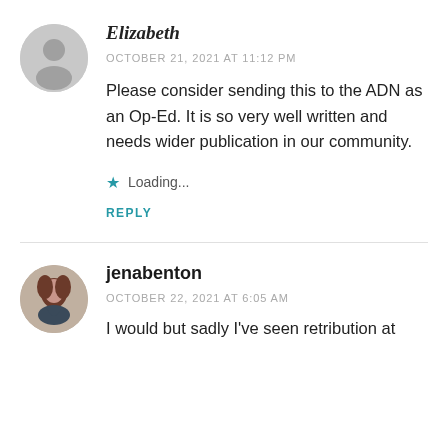[Figure (illustration): Circular grey avatar placeholder icon with a generic person silhouette]
Elizabeth
OCTOBER 21, 2021 AT 11:12 PM
Please consider sending this to the ADN as an Op-Ed. It is so very well written and needs wider publication in our community.
Loading...
REPLY
[Figure (photo): Circular profile photo of a woman with dark hair wearing a striped top]
jenabenton
OCTOBER 22, 2021 AT 6:05 AM
I would but sadly I've seen retribution at